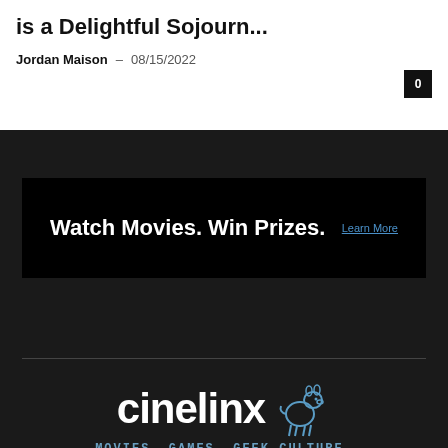is a Delightful Sojourn...
Jordan Maison – 08/15/2022
[Figure (infographic): Advertisement banner with black background: 'Watch Movies. Win Prizes.' with a 'Learn More' link on the right.]
[Figure (logo): Cinelinx logo with mascot donkey character. Text: 'cinelinx' with blue donkey mascot. Tagline: 'MOVIES. GAMES. GEEK CULTURE.']